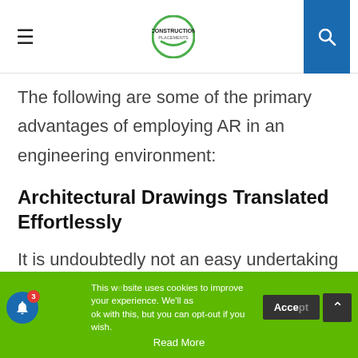Construction Placements
The following are some of the primary advantages of employing AR in an engineering environment:
Architectural Drawings Translated Effortlessly
It is undoubtedly not an easy undertaking to convert a drawing into a fully functional
This website uses cookies to improve your experience. We'll assume you're ok with this, but you can opt-out if you wish. Accept Read More